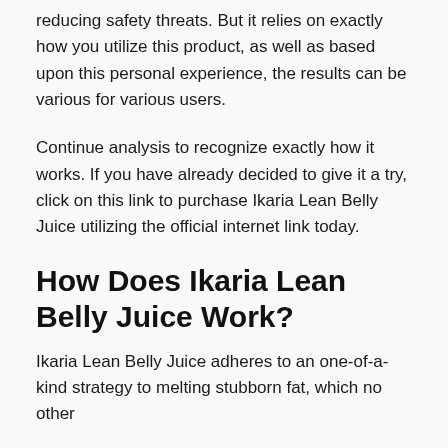reducing safety threats. But it relies on exactly how you utilize this product, as well as based upon this personal experience, the results can be various for various users.
Continue analysis to recognize exactly how it works. If you have already decided to give it a try, click on this link to purchase Ikaria Lean Belly Juice utilizing the official internet link today.
How Does Ikaria Lean Belly Juice Work?
Ikaria Lean Belly Juice adheres to an one-of-a-kind strategy to melting stubborn fat, which no other